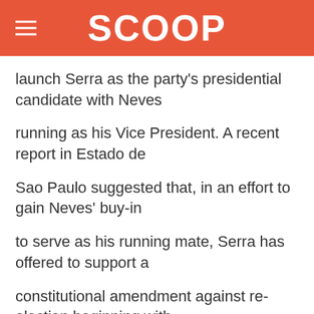SCOOP
launch Serra as the party's presidential candidate with Neves
running as his Vice President. A recent report in Estado de
Sao Paulo suggested that, in an effort to gain Neves' buy-in
to serve as his running mate, Serra has offered to support a
constitutional amendment against re-election beginning with
the 2010 election, which would ensure, should Serra win, that
Neves could run as his successor. Given Neves' relative